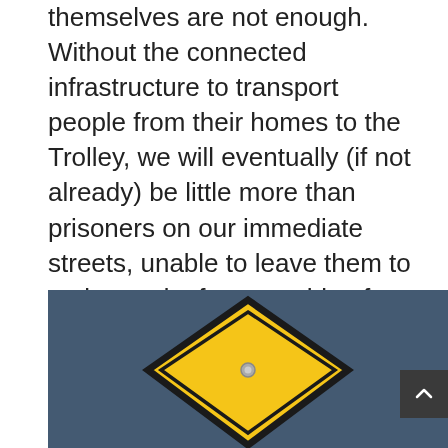themselves are not enough. Without the connected infrastructure to transport people from their homes to the Trolley, we will eventually (if not already) be little more than prisoners on our immediate streets, unable to leave them to go beyond – for everything from medical care to shopping, recreation, entertainment and more — unless we can get rides from friends, or expensive private transportation entities. That remains a challenge for the future. Solving this challenge will benefit all of us.
[Figure (photo): A yellow diamond-shaped caution/warning road sign on a dark blue-grey background, with a bolt/rivet visible at the center. The sign is cropped showing only the upper portion.]